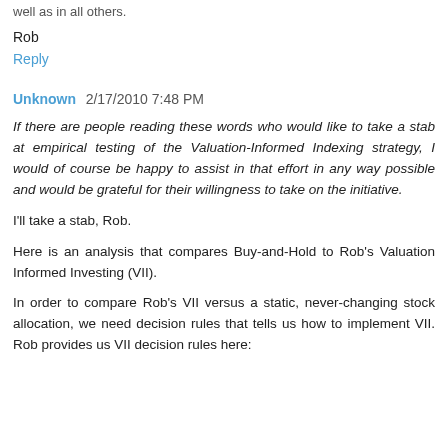well as in all others.
Rob
Reply
Unknown 2/17/2010 7:48 PM
If there are people reading these words who would like to take a stab at empirical testing of the Valuation-Informed Indexing strategy, I would of course be happy to assist in that effort in any way possible and would be grateful for their willingness to take on the initiative.
I'll take a stab, Rob.
Here is an analysis that compares Buy-and-Hold to Rob's Valuation Informed Investing (VII).
In order to compare Rob's VII versus a static, never-changing stock allocation, we need decision rules that tells us how to implement VII. Rob provides us VII decision rules here: